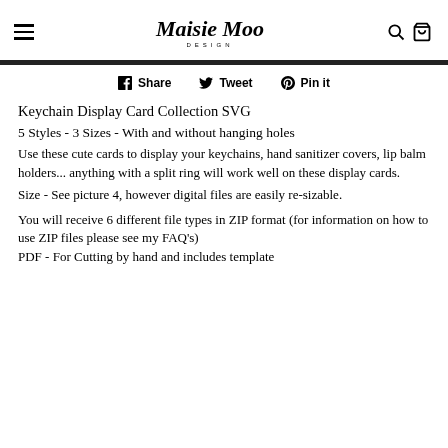Maisie Moo Design — navigation header
Share   Tweet   Pin it
Keychain Display Card Collection SVG
5 Styles - 3 Sizes - With and without hanging holes
Use these cute cards to display your keychains, hand sanitizer covers, lip balm holders... anything with a split ring will work well on these display cards.
Size - See picture 4, however digital files are easily re-sizable.
You will receive 6 different file types in ZIP format (for information on how to use ZIP files please see my FAQ's) PDF - For Cutting by hand and includes template